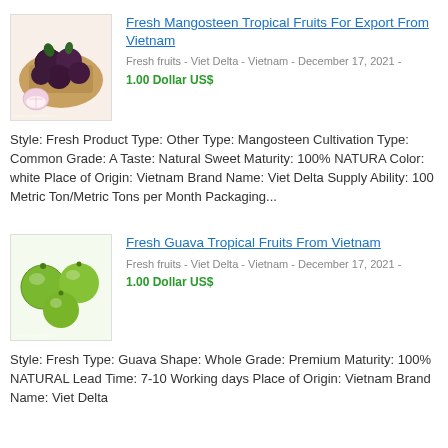Fresh Mangosteen Tropical Fruits For Export From Vietnam
Fresh fruits - Viet Delta - Vietnam - December 17, 2021 - 1.00 Dollar US$
Style: Fresh Product Type: Other Type: Mangosteen Cultivation Type: Common Grade: A Taste: Natural Sweet Maturity: 100% NATURA Color: white Place of Origin: Vietnam Brand Name: Viet Delta Supply Ability: 100 Metric Ton/Metric Tons per Month Packaging...
Fresh Guava Tropical Fruits From Vietnam
Fresh fruits - Viet Delta - Vietnam - December 17, 2021 - 1.00 Dollar US$
Style: Fresh Type: Guava Shape: Whole Grade: Premium Maturity: 100% NATURAL Lead Time: 7-10 Working days Place of Origin: Vietnam Brand Name: Viet Delta